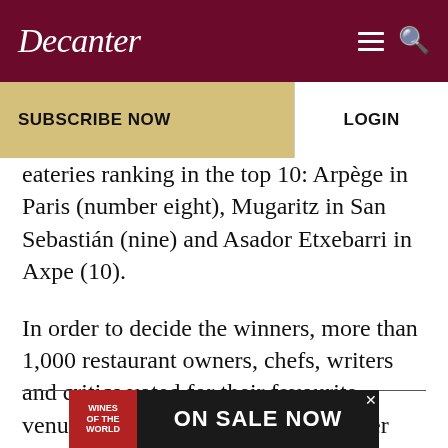Decanter
SUBSCRIBE NOW | LOGIN
eateries ranking in the top 10: Arpège in Paris (number eight), Mugaritz in San Sebastián (nine) and Asador Etxebarri in Axpe (10).
In order to decide the winners, more than 1,000 restaurant owners, chefs, writers and critics voted for their favourite venues, according to awards organiser William Reed Business Media.
[Figure (screenshot): Advertisement banner for 'Wines of the World' with text 'ON SALE NOW']